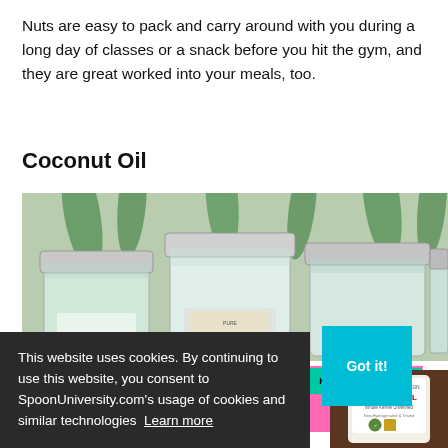Nuts are easy to pack and carry around with you during a long day of classes or a snack before you hit the gym, and they are great worked into your meals, too.
Coconut Oil
[Figure (photo): Photo of glass jars with metal lids, appearing to contain coconut oil, arranged in a row against a green background]
[Figure (infographic): Her Campus advertisement banner with teal top bar showing 'HER CAMPUS' repeated and pink bottom bar reading 'BECOME A LEADER IN SOCIAL MEDIA']
[Figure (photo): Cookie consent banner overlay on dark background reading 'This website uses cookies. By continuing to use this website, you consent to SpoonUniversity.com's usage of cookies and similar technologies Learn more' with a 'Got it!' button, and a coconut oil jar visible on right side]